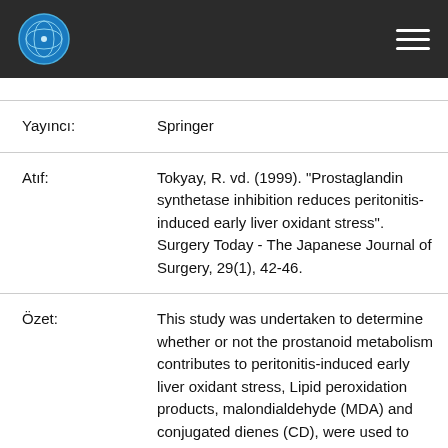Header bar with logo and navigation menu
| Field | Value |
| --- | --- |
| Yayıncı: | Springer |
| Atıf: | Tokyay, R. vd. (1999). "Prostaglandin synthetase inhibition reduces peritonitis-induced early liver oxidant stress". Surgery Today - The Japanese Journal of Surgery, 29(1), 42-46. |
| Özet: | This study was undertaken to determine whether or not the prostanoid metabolism contributes to peritonitis-induced early liver oxidant stress, Lipid peroxidation products, malondialdehyde (MDA) and conjugated dienes (CD), were used to monitor oxidant stress, The rats mere given a 5-cc intraperitoneal (i.p.) injection of 25% rat feces suspension and then received either i.p. saline (peritonitis group, n = 11), vitamin E (n = 6), or diclofenac (n = 6), The liver and plasma MDA and CD levels n ere measured after Sh, The plasma and liver AIDA and CD levels mere significantly higher |